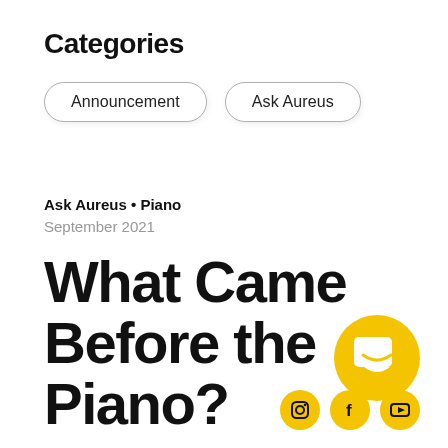Categories
Announcement
Ask Aureus
Ask Aureus • Piano
September 2021
What Came Before the Piano?
[Figure (logo): Aureus circular yellow logo with a book/chat icon]
[Figure (logo): Social media icons: Instagram, Facebook, YouTube in yellow circles]